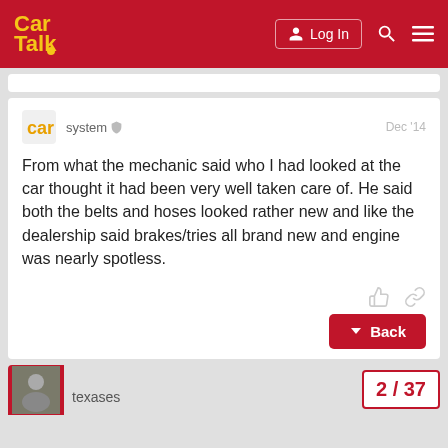Car Talk — Log In
system  Dec '14
From what the mechanic said who I had looked at the car thought it had been very well taken care of. He said both the belts and hoses looked rather new and like the dealership said brakes/tries all brand new and engine was nearly spotless.
texases
2 / 37